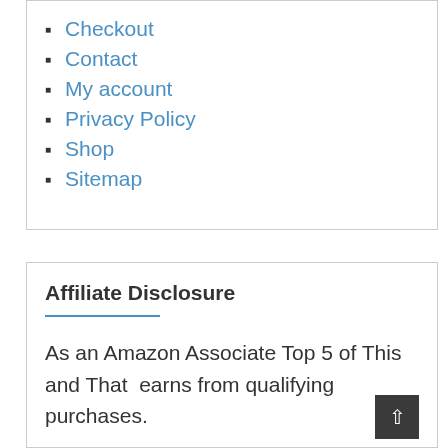Checkout
Contact
My account
Privacy Policy
Shop
Sitemap
Affiliate Disclosure
As an Amazon Associate Top 5 of This and That  earns from qualifying purchases.